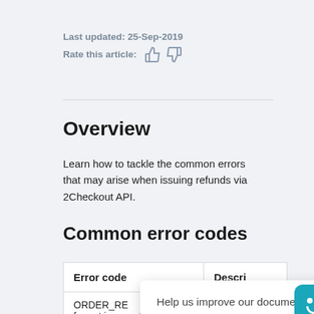Last updated: 25-Sep-2019
Rate this article:
Overview
Learn how to tackle the common errors that may arise when issuing refunds via 2Checkout API.
Common error codes
| Error code | Descri |
| --- | --- |
| ORDER_RE... format incorrect | e on... referer |
Help us improve our documentation.